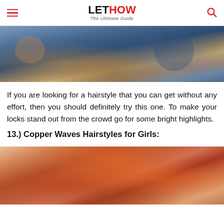LET HOW — The Ultimate Guide
[Figure (photo): Photo of a person wearing a denim jacket with gold necklace and buttons visible, cropped to torso area]
If you are looking for a hairstyle that you can get without any effort, then you should definitely try this one. To make your locks stand out from the crowd go for some bright highlights.
13.) Copper Waves Hairstyles for Girls:
[Figure (photo): Photo of a person with voluminous copper/red wavy hairstyle, shot against a light background, showing the back and top of the head]